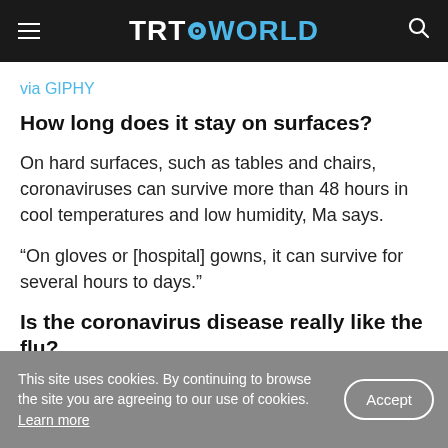TRT WORLD
via GIPHY
How long does it stay on surfaces?
On hard surfaces, such as tables and chairs, coronaviruses can survive more than 48 hours in cool temperatures and low humidity, Ma says.
“On gloves or [hospital] gowns, it can survive for several hours to days.”
Is the coronavirus disease really like the flu?
This site uses cookies. By continuing to browse the site you are agreeing to our use of cookies. Learn more